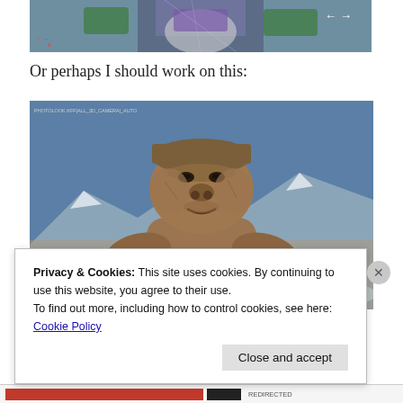[Figure (screenshot): Partial screenshot of a 3D rendered Buzz Lightyear model in a blue-grey viewport with navigation arrows visible in the top right corner.]
Or perhaps I should work on this:
[Figure (screenshot): 3D rendered stone gorilla/sphinx-like sculpture sitting in a snowy mountain scene with blue sky background. Small axis widget visible in lower center. Text label in top left: PHOTOLOOK.KFF|ALL_3D_CAMERA|_AUTO]
Privacy & Cookies: This site uses cookies. By continuing to use this website, you agree to their use.
To find out more, including how to control cookies, see here:
Cookie Policy
Close and accept